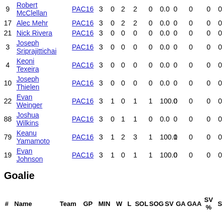| # | Name | Team | GP | MIN | W | L | SOL | SOG | SV | GA | GAA | SV% | S |
| --- | --- | --- | --- | --- | --- | --- | --- | --- | --- | --- | --- | --- | --- |
| 9 | Robert McClellan | PAC16 | 3 | 0 | 2 | 2 | 0 | 0.0 | 0 | 0 | 0 | 0 |
| 17 | Alec Mehr | PAC16 | 3 | 0 | 2 | 2 | 0 | 0.0 | 0 | 0 | 0 | 0 |
| 21 | Nick Rivera | PAC16 | 3 | 0 | 0 | 0 | 0 | 0.0 | 0 | 0 | 0 | 0 |
| 3 | Joseph Sriprajittichai | PAC16 | 3 | 0 | 0 | 0 | 0 | 0.0 | 0 | 0 | 0 | 0 |
| 4 | Keoni Texeira | PAC16 | 3 | 0 | 0 | 0 | 0 | 0.0 | 0 | 0 | 0 | 0 |
| 10 | Joseph Thielen | PAC16 | 3 | 0 | 0 | 0 | 0 | 0.0 | 0 | 0 | 0 | 0 |
| 22 | Evan Weinger | PAC16 | 3 | 1 | 0 | 1 | 1 | 100.0 | 0 | 0 | 0 | 0 |
| 88 | Joshua Wilkins | PAC16 | 3 | 0 | 1 | 1 | 0 | 0.0 | 0 | 0 | 0 | 0 |
| 79 | Keanu Yamamoto | PAC16 | 3 | 1 | 2 | 3 | 1 | 100.0 | 1 | 0 | 0 | 0 |
| 19 | Evan Johnson | PAC16 | 3 | 1 | 0 | 1 | 1 | 100.0 | 0 | 0 | 0 | 0 |
Goalie
| # | Name | Team | GP | MIN | W | L | SOL | SOG | SV | GA | GAA | SV% | S |
| --- | --- | --- | --- | --- | --- | --- | --- | --- | --- | --- | --- | --- | --- |